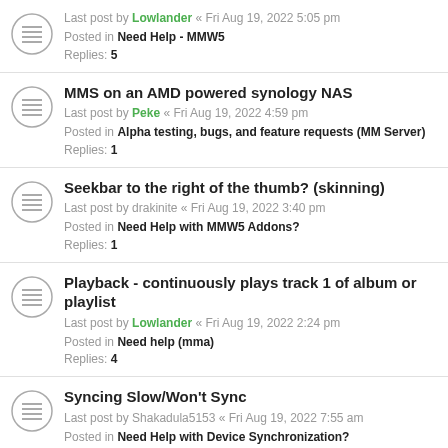Last post by Lowlander « Fri Aug 19, 2022 5:05 pm
Posted in Need Help - MMW5
Replies: 5
MMS on an AMD powered synology NAS
Last post by Peke « Fri Aug 19, 2022 4:59 pm
Posted in Alpha testing, bugs, and feature requests (MM Server)
Replies: 1
Seekbar to the right of the thumb? (skinning)
Last post by drakinite « Fri Aug 19, 2022 3:40 pm
Posted in Need Help with MMW5 Addons?
Replies: 1
Playback - continuously plays track 1 of album or playlist
Last post by Lowlander « Fri Aug 19, 2022 2:24 pm
Posted in Need help (mma)
Replies: 4
Syncing Slow/Won't Sync
Last post by Shakadula5153 « Fri Aug 19, 2022 7:55 am
Posted in Need Help with Device Synchronization?
Replies: 1
Renamed Playlist bug